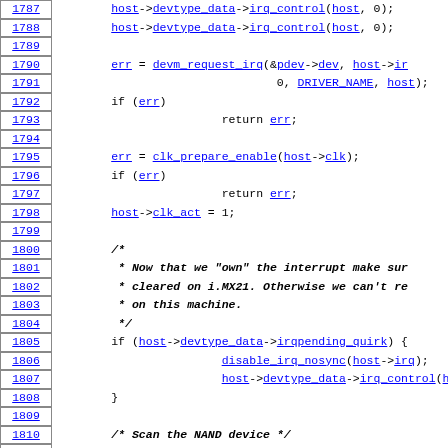Source code listing, lines 1787-1817, C kernel driver code for NAND flash controller
1787: host->devtype_data->irq_control(host, 0);
1788: host->devtype_data->irq_control(host, 0);
1789: (blank)
1790: err = devm_request_irq(&pdev->dev, host->ir
1791:                         0, DRIVER_NAME, host);
1792: if (err)
1793:         return err;
1794: (blank)
1795: err = clk_prepare_enable(host->clk);
1796: if (err)
1797:         return err;
1798: host->clk_act = 1;
1799: (blank)
1800: /*
1801:  * Now that we "own" the interrupt make sur
1802:  * cleared on i.MX21. Otherwise we can't re
1803:  * on this machine.
1804:  */
1805: if (host->devtype_data->irqpending_quirk) {
1806:         disable_irq_nosync(host->irq);
1807:         host->devtype_data->irq_control(hos
1808: }
1809: (blank)
1810: /* Scan the NAND device */
1811: this->legacy.dummy_controller.ops = &mxcnd
1812: err = nand_scan(this, is_imx25_nfc(host) ?
1813: if (err)
1814:         goto escan;
1815: (blank)
1816: /* Register the partitions */
1817: err = mtd_device_parse_register(mtd, part